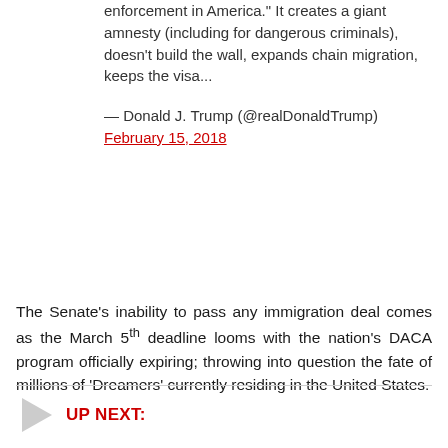enforcement in America." It creates a giant amnesty (including for dangerous criminals), doesn't build the wall, expands chain migration, keeps the visa...
— Donald J. Trump (@realDonaldTrump) February 15, 2018
The Senate's inability to pass any immigration deal comes as the March 5th deadline looms with the nation's DACA program officially expiring; throwing into question the fate of millions of 'Dreamers' currently residing in the United States.
UP NEXT: